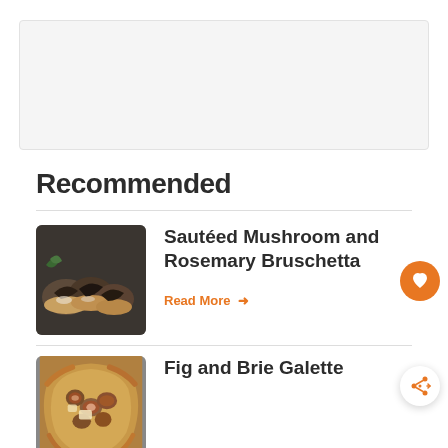[Figure (other): Gray banner/advertisement area at top of page]
Recommended
[Figure (photo): Photo of sautéed mushroom and rosemary bruschetta on bread slices on a dark surface]
Sautéed Mushroom and Rosemary Bruschetta
Read More →
[Figure (photo): Photo of fig and brie galette pastry with figs and cheese]
Fig and Brie Galette
WHAT'S NEXT → Baked Brie with...